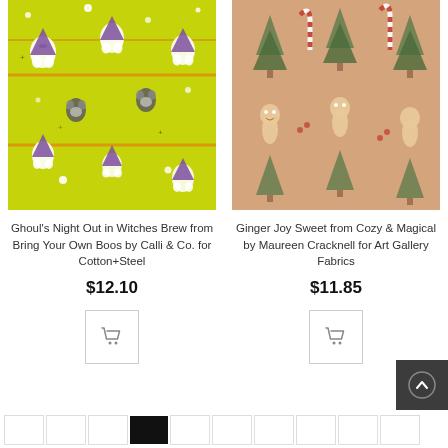[Figure (photo): Fabric swatch with chartreuse/yellow-green background featuring illustrated ghosts wearing witch hats and raccoons holding candy, Halloween theme]
Ghoul's Night Out in Witches Brew from Bring Your Own Boos by Calli & Co. for Cotton+Steel
$12.10
[Figure (illustration): Shopping cart icon button]
[Figure (photo): Fabric swatch with sandy/peach background featuring illustrated gingerbread people, candy canes, and Christmas trees, holiday theme]
Ginger Joy Sweet from Cozy & Magical by Maureen Cracknell for Art Gallery Fabrics
$11.85
[Figure (illustration): Shopping cart icon button]